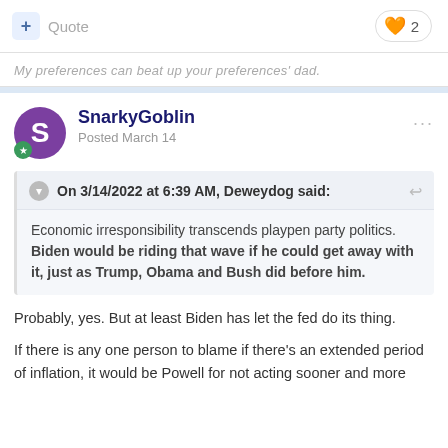+ Quote
2
My preferences can beat up your preferences' dad.
SnarkyGoblin
Posted March 14
On 3/14/2022 at 6:39 AM, Deweydog said:
Economic irresponsibility transcends playpen party politics. Biden would be riding that wave if he could get away with it, just as Trump, Obama and Bush did before him.
Probably, yes.  But at least Biden has let the fed do its thing.
If there is any one person to blame if there's an extended period of inflation, it would be Powell for not acting sooner and more